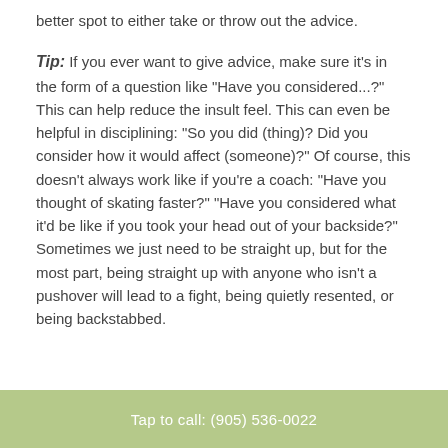better spot to either take or throw out the advice.
Tip: If you ever want to give advice, make sure it's in the form of a question like "Have you considered...?" This can help reduce the insult feel. This can even be helpful in disciplining: "So you did (thing)? Did you consider how it would affect (someone)?" Of course, this doesn't always work like if you're a coach: "Have you thought of skating faster?" "Have you considered what it'd be like if you took your head out of your backside?" Sometimes we just need to be straight up, but for the most part, being straight up with anyone who isn't a pushover will lead to a fight, being quietly resented, or being backstabbed.
Tap to call: (905) 536-0022